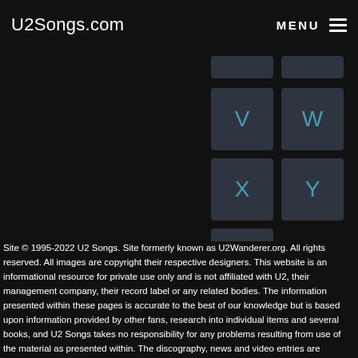U2Songs.com  MENU
[Figure (infographic): Navigation grid with letter buttons V, W, X, Y, Z in dark grey rounded square buttons with teal letter color on dark background]
Site © 1995-2022 U2 Songs. Site formerly known as U2Wanderer.org. All rights reserved. All images are copyright their respective designers. This website is an informational resource for private use only and is not affiliated with U2, their management company, their record label or any related bodies. The information presented within these pages is accurate to the best of our knowledge but is based upon information provided by other fans, research into individual items and several books, and U2 Songs takes no responsibility for any problems resulting from use of the material as presented within. The discography, news and video entries are copyright U2Songs and should not be reused in any form without permission, all images in the discography are scanned / generated by U2Songs from original sources and also should not be used without permission. Lyrics are transcribed as